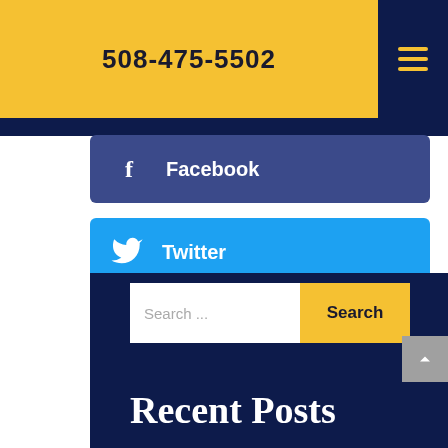508-475-5502
Facebook
Twitter
LinkedIn
Recent Posts